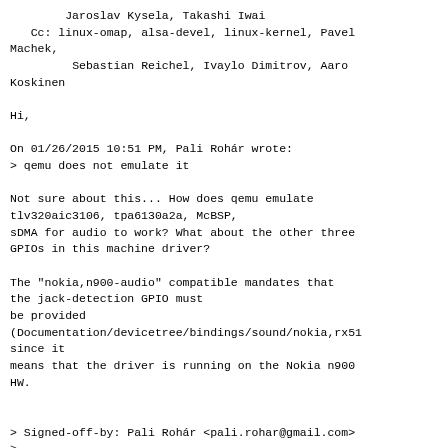Jaroslav Kysela, Takashi Iwai
   Cc: linux-omap, alsa-devel, linux-kernel, Pavel Machek,
         Sebastian Reichel, Ivaylo Dimitrov, Aaro Koskinen

Hi,

On 01/26/2015 10:51 PM, Pali Rohár wrote:
> qemu does not emulate it

Not sure about this... How does qemu emulate tlv320aic3106, tpa6130a2a, McBSP, sDMA for audio to work? What about the other three GPIOs in this machine driver?

The "nokia,n900-audio" compatible mandates that the jack-detection GPIO must be provided (Documentation/devicetree/bindings/sound/nokia,rx51 since it means that the driver is running on the Nokia n900 HW.


> Signed-off-by: Pali Rohár <pali.rohar@gmail.com>
> ---
>  sound/soc/omap/rx51.c |   45
+++++++++++++++++++++++++-----------------------
>  1 file changed, 25 insertions(+), 20